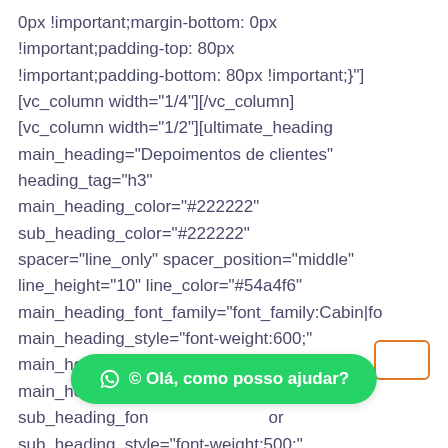0px !important;margin-bottom: 0px !important;padding-top: 80px !important;padding-bottom: 80px !important;}"] [vc_column width="1/4"][/vc_column] [vc_column width="1/2"][ultimate_heading main_heading="Depoimentos de clientes" heading_tag="h3" main_heading_color="#222222" sub_heading_color="#222222" spacer="line_only" spacer_position="middle" line_height="10" line_color="#54a4f6" main_heading_font_family="font_family:Cabin|fo main_heading_style="font-weight:600;" main_heading_font_size="desktop:46px;" main_heading_line_height="desktop:60px sub_heading_fon or sub_heading_style="font-weight:500;"
[Figure (screenshot): Green WhatsApp chat button overlay at the bottom center saying 'Olá, como posso ajudar?' with a WhatsApp icon]